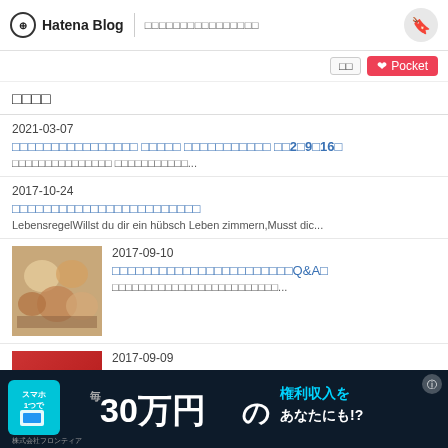Hatena Blog | □□□□□□□□□□□□□□□□
□□□□
2021-03-07 □□□□□□□□□□□□□□□□ □□□□□ □□□□□□□□□□□ □□2□9□16□ □□□□□□□□□□□□□□□ □□□□□□□□□□□...
2017-10-24 □□□□□□□□□□□□□□□□□□□□□□□□ LebensregelWillst du dir ein hübsch Leben zimmern,Musst dic...
2017-09-10 □□□□□□□□□□□□□□□□□□□□□□□Q&A□ □□□□□□□□□□□□□□□□□□□□□□□□□...
2017-09-09 □□□□□□□□□□□□□□□□□□□□□
[Figure (screenshot): Advertisement banner: スマホ1つで 毎30万円の 権利収入をあなたにも!? 株式会社フロンティア]